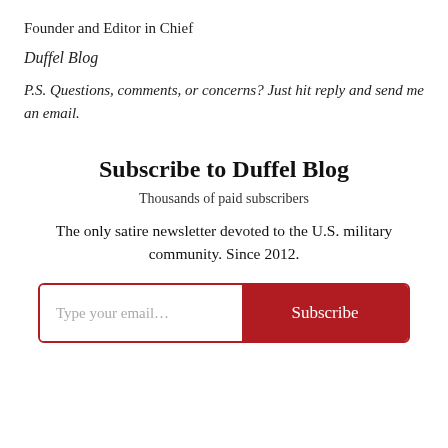Founder and Editor in Chief
Duffel Blog
P.S. Questions, comments, or concerns? Just hit reply and send me an email.
Subscribe to Duffel Blog
Thousands of paid subscribers
The only satire newsletter devoted to the U.S. military community. Since 2012.
[Figure (other): Email subscription input box with placeholder 'Type your email...' and a red Subscribe button]